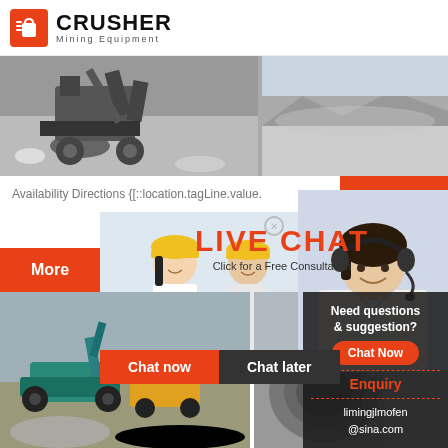[Figure (logo): Crusher Mining Equipment logo with red shopping bag icon and bold CRUSHER text]
[Figure (photo): Two mining/crusher equipment photos side by side at top of page]
Availability Directions {[::location.tagLine.value.
24Hrs Online
[Figure (photo): Live chat popup with workers in hard hats and customer service representative with headset. LIVE CHAT title with 'Click for a Free Consultation' subtitle.]
More
LIVE CHAT
Click for a Free Consultation
Chat now
Chat later
[Figure (photo): Two mining site photos at bottom of page, showing excavators and industrial equipment]
Need questions & suggestion?
Chat Now
Enquiry
limingjlmofen@sina.com